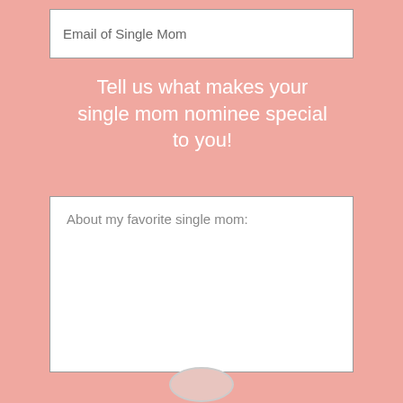Email of Single Mom
Tell us what makes your single mom nominee special to you!
About my favorite single mom: